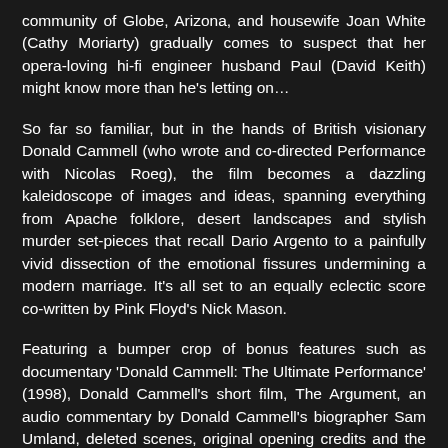community of Globe, Arizona, and housewife Joan White (Cathy Moriarty) gradually comes to suspect that her opera-loving hi-fi engineer husband Paul (David Keith) might know more than he's letting on…
So far so familiar, but in the hands of British visionary Donald Cammell (who wrote and co-directed Performance with Nicolas Roeg), the film becomes a dazzling kaleidoscope of images and ideas, spanning everything from Apache folklore, desert landscapes and stylish murder set-pieces that recall Dario Argento to a painfully vivid dissection of the emotional fissures undermining a modern marriage. It's all set to an equally eclectic score co-written by Pink Floyd's Nick Mason.
Featuring a bumper crop of bonus features such as documentary 'Donald Cammell: The Ultimate Performance' (1998), Donald Cammell's short film, The Argument, an audio commentary by Donald Cammell's biographer Sam Umland, deleted scenes, original opening credits and the theatrical trailer.